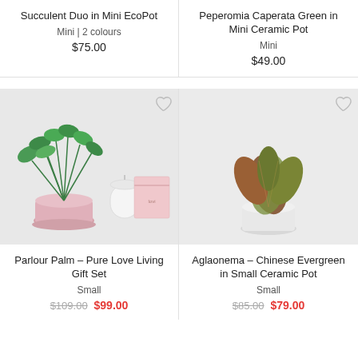Succulent Duo in Mini EcoPot
Mini | 2 colours
$75.00
Peperomia Caperata Green in Mini Ceramic Pot
Mini
$49.00
[Figure (photo): Parlour Palm plant in pink ceramic pot with a white candle and pink gift box]
[Figure (photo): Aglaonema Chinese Evergreen plant with reddish-green leaves in a small white ceramic pot]
Parlour Palm – Pure Love Living Gift Set
Small
$109.00  $99.00
Aglaonema – Chinese Evergreen in Small Ceramic Pot
Small
$85.00  $79.00